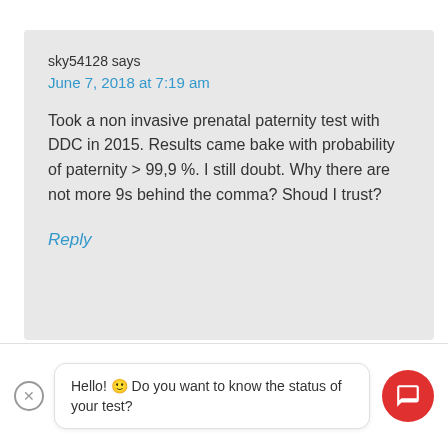sky54128 says
June 7, 2018 at 7:19 am
Took a non invasive prenatal paternity test with DDC in 2015. Results came bake with probability of paternity > 99,9 %. I still doubt. Why there are not more 9s behind the comma? Shoud I trust?
Reply
Hello! 🙂 Do you want to know the status of your test?